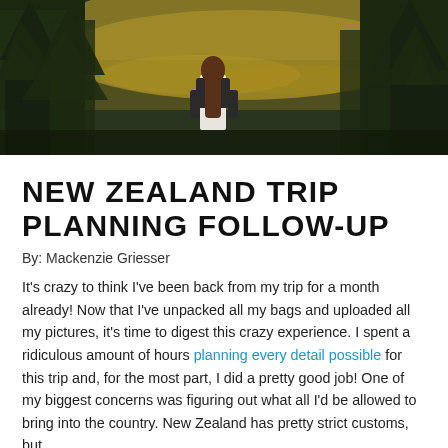[Figure (photo): Woman with long brown hair viewed from behind, standing among tall dark green pine trees with a shimmering body of water and warm golden light in the background.]
NEW ZEALAND TRIP PLANNING FOLLOW-UP
By: Mackenzie Griesser
It's crazy to think I've been back from my trip for a month already! Now that I've unpacked all my bags and uploaded all my pictures, it's time to digest this crazy experience. I spent a ridiculous amount of hours planning every detail possible for this trip and, for the most part, I did a pretty good job! One of my biggest concerns was figuring out what all I'd be allowed to bring into the country. New Zealand has pretty strict customs, but